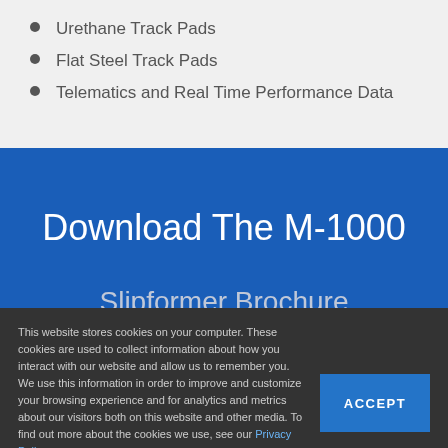Urethane Track Pads
Flat Steel Track Pads
Telematics and Real Time Performance Data
Download The M-1000
Slipformer Brochure
This website stores cookies on your computer. These cookies are used to collect information about how you interact with our website and allow us to remember you. We use this information in order to improve and customize your browsing experience and for analytics and metrics about our visitors both on this website and other media. To find out more about the cookies we use, see our Privacy Policy.